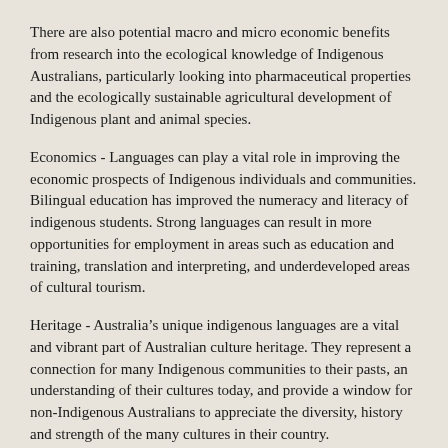There are also potential macro and micro economic benefits from research into the ecological knowledge of Indigenous Australians, particularly looking into pharmaceutical properties and the ecologically sustainable agricultural development of Indigenous plant and animal species.
Economics - Languages can play a vital role in improving the economic prospects of Indigenous individuals and communities. Bilingual education has improved the numeracy and literacy of indigenous students. Strong languages can result in more opportunities for employment in areas such as education and training, translation and interpreting, and underdeveloped areas of cultural tourism.
Heritage - Australia’s unique indigenous languages are a vital and vibrant part of Australian culture heritage. They represent a connection for many Indigenous communities to their pasts, an understanding of their cultures today, and provide a window for non-Indigenous Australians to appreciate the diversity, history and strength of the many cultures in their country.
NATIONAL INDIGENOUS LANGUAGE POLICY DIRECTIONS